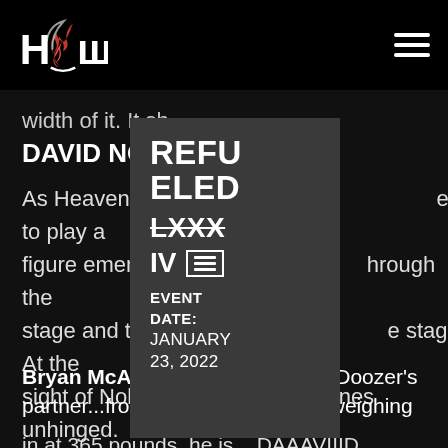HCW (logo) — navigation header
width of it. It sh
DAVID NOBLE
As Heaven and ... es to play a figure emerges ... hrough the stage and to th ... e stage. At the sight of Noble, ... nes unhinged.
[Figure (screenshot): Popup card overlay showing: REFUELED LXXX IV with mini hamburger icon, EVENT DATE: JANUARY 23, 2022]
Bryan McAvay: And introducing, Doozer's partner...from Buffalo, New York, weighing in at 365 pounds, he is... DAAAVIIID
in at 365 pounds, he is... DAAAVIIID